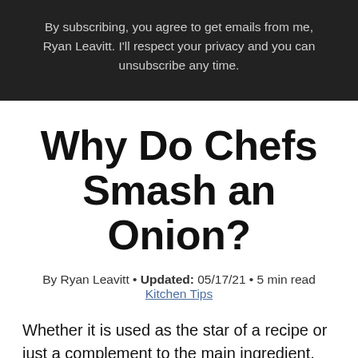By subscribing, you agree to get emails from me, Ryan Leavitt. I'll respect your privacy and you can unsubscribe any time.
Why Do Chefs Smash an Onion?
By Ryan Leavitt • Updated: 05/17/21 • 5 min read Kitchen Tips
Whether it is used as the star of a recipe or just a complement to the main ingredient, simmered until